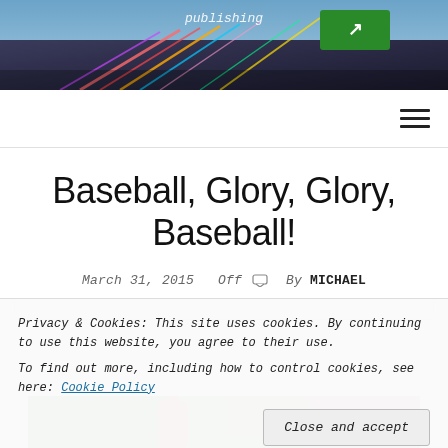[Figure (photo): Header image showing a highway with light trails and a green road sign, blurred colorful streaks]
publishing
Privacy & Cookies: This site uses cookies. By continuing to use this website, you agree to their use. To find out more, including how to control cookies, see here: Cookie Policy
Baseball, Glory, Glory, Baseball!
March 31, 2015   Off   By MICHAEL
[Figure (photo): Baseball stadium photo with player in red cap and crowd in background]